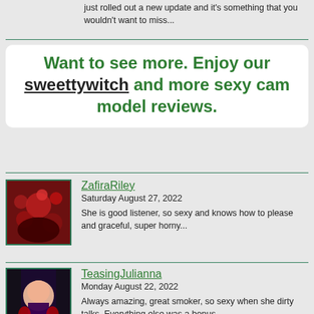just rolled out a new update and it's something that you wouldn't want to miss...
Want to see more. Enjoy our sweettywitch and more sexy cam model reviews.
ZafiraRiley
Saturday August 27, 2022
She is good listener, so sexy and knows how to please and graceful, super horny...
TeasingJulianna
Monday August 22, 2022
Always amazing, great smoker, so sexy when she dirty talks. Everything else was a bonus...